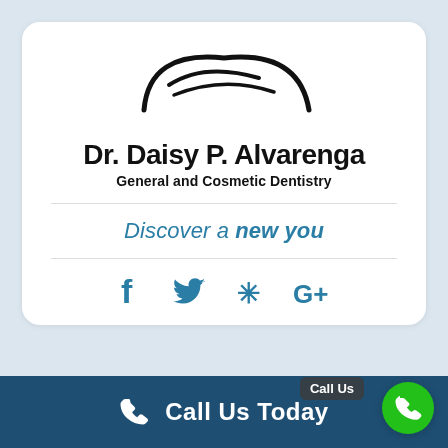[Figure (logo): Stylized tooth outline logo for Dr. Daisy P. Alvarenga dental practice]
Dr. Daisy P. Alvarenga
General and Cosmetic Dentistry
Discover a new you
[Figure (other): Social media icons: Facebook, Twitter, Yelp, Google+]
Call Us Today